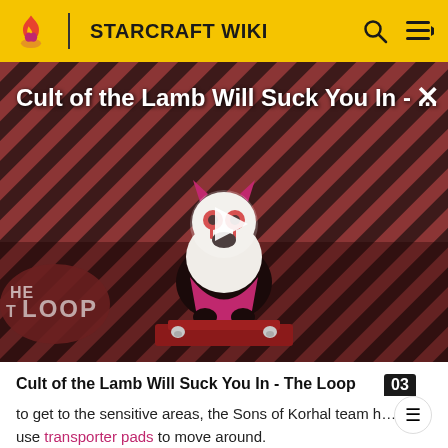STARCRAFT WIKI
[Figure (screenshot): Video thumbnail for 'Cult of the Lamb Will Suck You In - The Loop' showing a cartoon lamb character with devil horns on a striped red/dark background, with a play button in the center and 'THE LOOP' text overlay at the bottom left. A close (X) button is in the top right corner.]
Cult of the Lamb Will Suck You In - The Loop
to get to the sensitive areas, the Sons of Korhal team h… to use transporter pads to move around.
Eventually, they made it to the main computer, which was